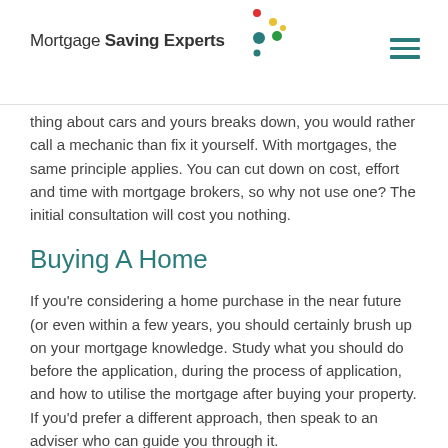Mortgage Saving Experts
thing about cars and yours breaks down, you would rather call a mechanic than fix it yourself. With mortgages, the same principle applies. You can cut down on cost, effort and time with mortgage brokers, so why not use one? The initial consultation will cost you nothing.
Buying A Home
If you're considering a home purchase in the near future (or even within a few years, you should certainly brush up on your mortgage knowledge. Study what you should do before the application, during the process of application, and how to utilise the mortgage after buying your property. If you'd prefer a different approach, then speak to an adviser who can guide you through it.